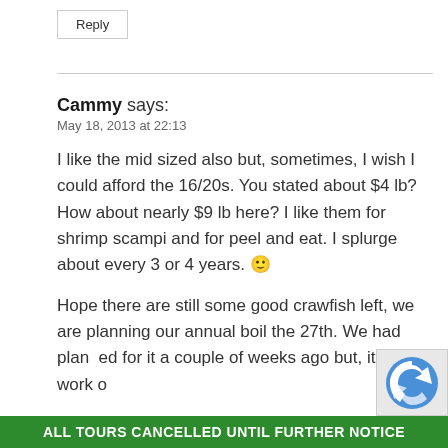Reply
Cammy says:
May 18, 2013 at 22:13
I like the mid sized also but, sometimes, I wish I could afford the 16/20s. You stated about $4 lb? How about nearly $9 lb here? I like them for shrimp scampi and for peel and eat. I splurge about every 3 or 4 years. 🙂
Hope there are still some good crawfish left, we are planning our annual boil the 27th. We had planned for it a couple of weeks ago but, it didn't work o
ALL TOURS CANCELLED UNTIL FURTHER NOTICE